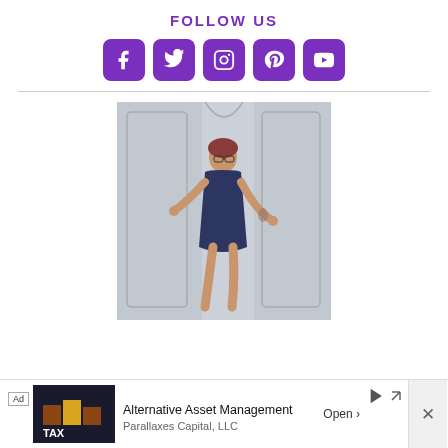FOLLOW US
[Figure (infographic): Five purple rounded-square social media icons in a row: Facebook (f), Twitter (bird), Instagram (camera), Pinterest (P), YouTube (play button)]
[Figure (photo): A woman in a dark navy dress standing in front of ornate grey double doors, posing with one hand on the door handle and the other outstretched.]
Ad  Alternative Asset Management  Parallaxes Capital, LLC  Open